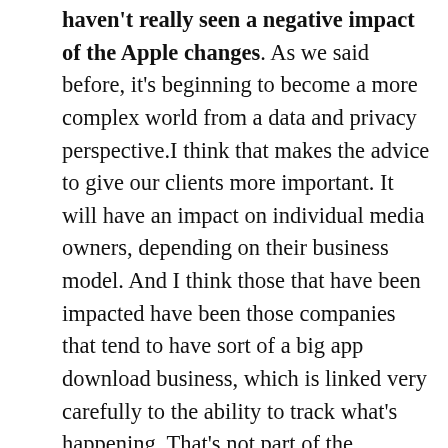haven't really seen a negative impact of the Apple changes. As we said before, it's beginning to become a more complex world from a data and privacy perspective.I think that makes the advice to give our clients more important. It will have an impact on individual media owners, depending on their business model. And I think those that have been impacted have been those companies that tend to have sort of a big app download business, which is linked very carefully to the ability to track what's happening. That's not part of the business in which we really operate, so I think accounts for the — perhaps the surprises that you saw there.